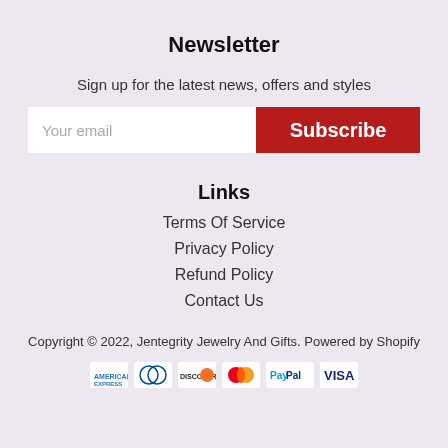Newsletter
Sign up for the latest news, offers and styles
[Figure (screenshot): Email input field with placeholder 'Your email' and a red Subscribe button]
Links
Terms Of Service
Privacy Policy
Refund Policy
Contact Us
Copyright © 2022, Jentegrity Jewelry And Gifts. Powered by Shopify
[Figure (logo): Payment method icons: American Express, Diners Club, Discover, Mastercard, PayPal, Visa]